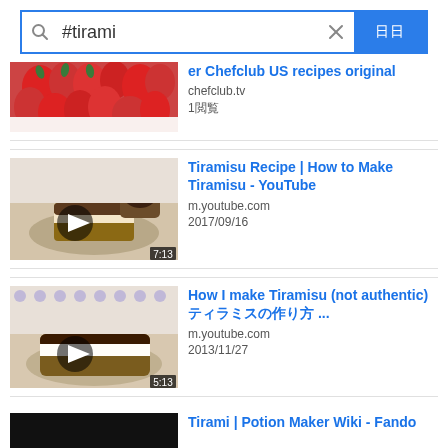[Figure (screenshot): Search bar with #tirami query and blue search button with Japanese characters]
[Figure (photo): Partial top result: strawberry dessert thumbnail for chefclub.tv]
er Chefclub US recipes original
chefclub.tv
1閲覧
[Figure (screenshot): Video thumbnail of tiramisu slice with play button and 7:13 duration]
Tiramisu Recipe | How to Make Tiramisu - YouTube
m.youtube.com
2017/09/16
[Figure (screenshot): Video thumbnail of tiramisu dessert with play button and 5:13 duration]
How I make Tiramisu (not authentic) ティラミスの作り方 ...
m.youtube.com
2013/11/27
[Figure (screenshot): Partial bottom result: dark thumbnail for Tirami | Potion Maker Wiki - Fando]
Tirami | Potion Maker Wiki - Fando